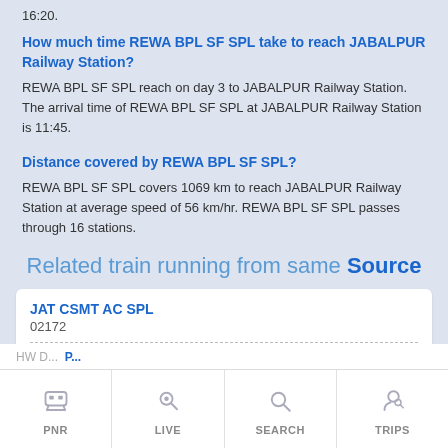16:20.
How much time REWA BPL SF SPL take to reach JABALPUR Railway Station?
REWA BPL SF SPL reach on day 3 to JABALPUR Railway Station. The arrival time of REWA BPL SF SPL at JABALPUR Railway Station is 11:45.
Distance covered by REWA BPL SF SPL?
REWA BPL SF SPL covers 1069 km to reach JABALPUR Railway Station at average speed of 56 km/hr. REWA BPL SF SPL passes through 16 stations.
Related train running from same Source
| SOURCE | DESTINATION | RUNS ON |
| --- | --- | --- |
| HARIDWAR JN | LOKMANYATILAK T | TUE, FRI |
PNR  LIVE  SEARCH  TRIPS